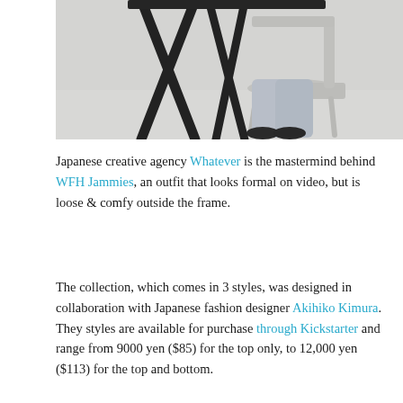[Figure (photo): Person seated on a light grey chair at a black X-frame table, wearing light blue/grey jeans and dark shoes, photographed against a light grey/white background. The image is cropped showing only the lower body.]
Japanese creative agency Whatever is the mastermind behind WFH Jammies, an outfit that looks formal on video, but is loose & comfy outside the frame.
The collection, which comes in 3 styles, was designed in collaboration with Japanese fashion designer Akihiko Kimura. They styles are available for purchase through Kickstarter and range from 9000 yen ($85) for the top only, to 12,000 yen ($113) for the top and bottom.